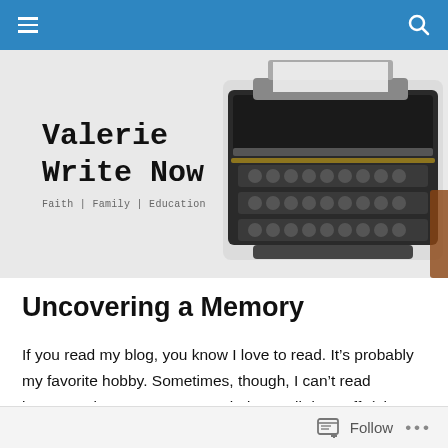Navigation bar with menu and search icons
[Figure (illustration): Blog banner with vintage typewriter image on right side and blog title 'Valerie Write Now' with tagline 'Faith | Family | Education' on left side against light grey background]
Uncovering a Memory
If you read my blog, you know I love to read. It's probably my favorite hobby. Sometimes, though, I can't read because I know as soon as I sit down, I'll doze off. (I hate that!) Yesterday, after church, I knew I'd better keep
Follow •••